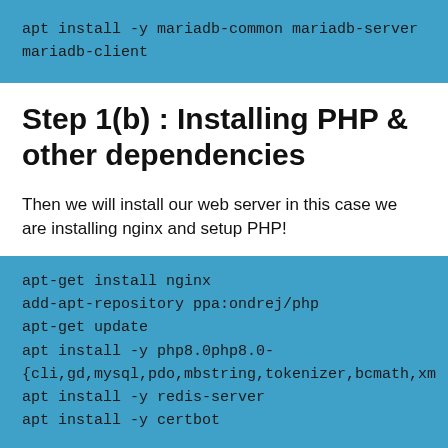apt install -y mariadb-common mariadb-server mariadb-client
Step 1(b) : Installing PHP & other dependencies
Then we will install our web server in this case we are installing nginx and setup PHP!
apt-get install nginx
add-apt-repository ppa:ondrej/php
apt-get update
apt install -y php8.0php8.0-
{cli,gd,mysql,pdo,mbstring,tokenizer,bcmath,xm
apt install -y redis-server
apt install -y certbot